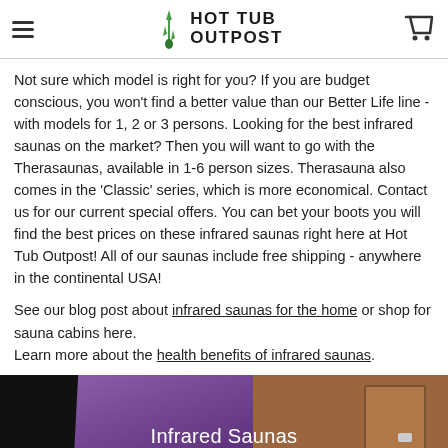HOT TUB OUTPOST
Not sure which model is right for you?  If you are budget conscious, you won't find a better value than our Better Life line - with models for 1, 2 or 3 persons.  Looking for the best infrared saunas on the market?  Then you will want to go with the Therasaunas, available in 1-6 person sizes.  Therasauna also comes in the 'Classic' series, which is more economical.  Contact us for our current special offers. You can bet your boots you will find the best prices on these infrared saunas right here at Hot Tub Outpost!  All of our saunas include free shipping - anywhere in the continental USA!
See our blog post about infrared saunas for the home or shop for sauna cabins here.
Learn more about the health benefits of infrared saunas.
[Figure (photo): Photo of infrared saunas with purple banner and wooden sauna cabinet. Text overlay reads 'Infrared Saunas'.]